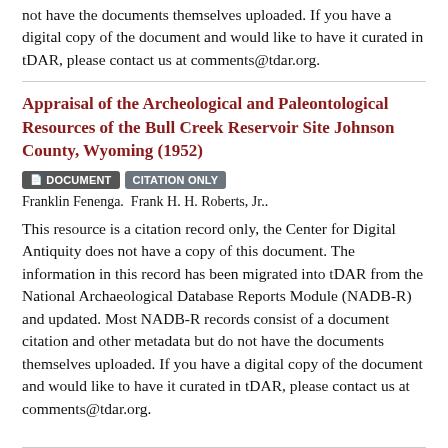not have the documents themselves uploaded. If you have a digital copy of the document and would like to have it curated in tDAR, please contact us at comments@tdar.org.
Appraisal of the Archeological and Paleontological Resources of the Bull Creek Reservoir Site Johnson County, Wyoming (1952)
DOCUMENT  CITATION ONLY  Franklin Fenenga.  Frank H. H. Roberts, Jr..
This resource is a citation record only, the Center for Digital Antiquity does not have a copy of this document. The information in this record has been migrated into tDAR from the National Archaeological Database Reports Module (NADB-R) and updated. Most NADB-R records consist of a document citation and other metadata but do not have the documents themselves uploaded. If you have a digital copy of the document and would like to have it curated in tDAR, please contact us at comments@tdar.org.